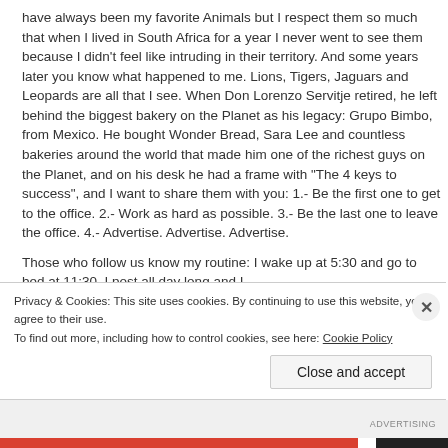have always been my favorite Animals but I respect them so much that when I lived in South Africa for a year I never went to see them because I didn't feel like intruding in their territory. And some years later you know what happened to me. Lions, Tigers, Jaguars and Leopards are all that I see. When Don Lorenzo Servitje retired, he left behind the biggest bakery on the Planet as his legacy: Grupo Bimbo, from Mexico. He bought Wonder Bread, Sara Lee and countless bakeries around the world that made him one of the richest guys on the Planet, and on his desk he had a frame with "The 4 keys to success", and I want to share them with you: 1.- Be the first one to get to the office. 2.- Work as hard as possible. 3.- Be the last one to leave the office. 4.- Advertise. Advertise. Advertise.
Those who follow us know my routine: I wake up at 5:30 and go to bed at 11:30. I post all day long and I
Privacy & Cookies: This site uses cookies. By continuing to use this website, you agree to their use.
To find out more, including how to control cookies, see here: Cookie Policy
Close and accept